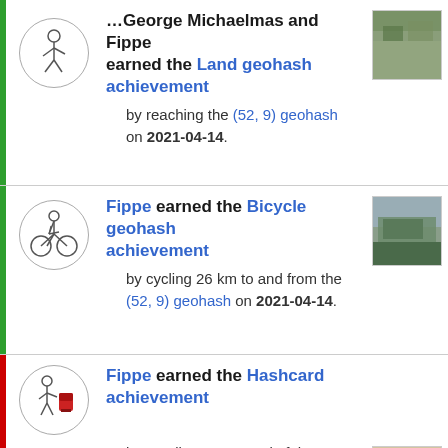George Michaelmas and Fippe earned the Land geohash achievement by reaching the (52, 9) geohash on 2021-04-14.
Fippe earned the Bicycle geohash achievement by cycling 26 km to and from the (52, 9) geohash on 2021-04-14.
Fippe earned the Hashcard achievement by sending a postcard of the hashpoint area to Baarde on the (52, 9) expedition on 2021-04-